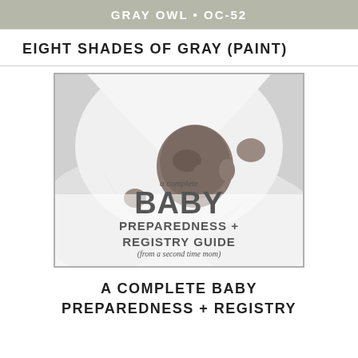GRAY OWL • OC-52
EIGHT SHADES OF GRAY (PAINT)
[Figure (photo): Black and white photo of a newborn baby wrapped in a white blanket/towel, with text overlay reading 'a complete BABY PREPAREDNESS + REGISTRY GUIDE (from a second time mom)']
A COMPLETE BABY PREPAREDNESS + REGISTRY